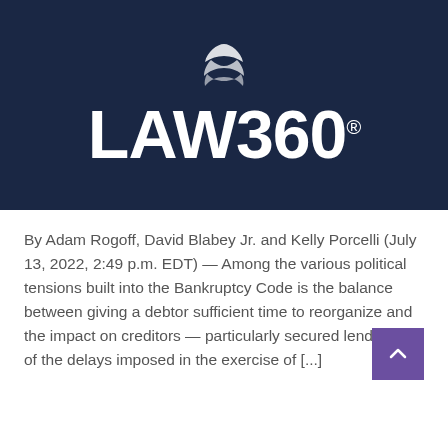[Figure (logo): LAW360 logo on dark navy blue background with white wave/shield icon above the text]
By Adam Rogoff, David Blabey Jr. and Kelly Porcelli (July 13, 2022, 2:49 p.m. EDT) — Among the various political tensions built into the Bankruptcy Code is the balance between giving a debtor sufficient time to reorganize and the impact on creditors — particularly secured lenders — of the delays imposed in the exercise of [...]